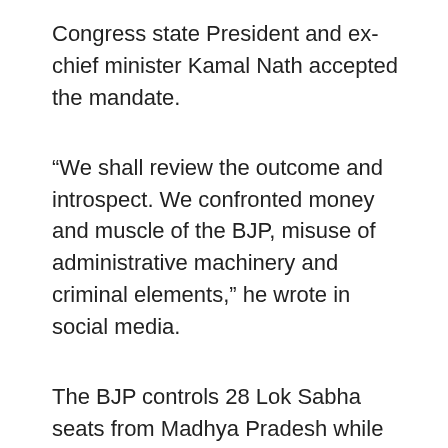Congress state President and ex-chief minister Kamal Nath accepted the mandate.
“We shall review the outcome and introspect. We confronted money and muscle of the BJP, misuse of administrative machinery and criminal elements,” he wrote in social media.
The BJP controls 28 Lok Sabha seats from Madhya Pradesh while the Congress just holds Chhindwara, which is represented by Mr Nath’s son Nakul. In the 230-member Assembly, the BJP now has 128 seats and the Congress 95.